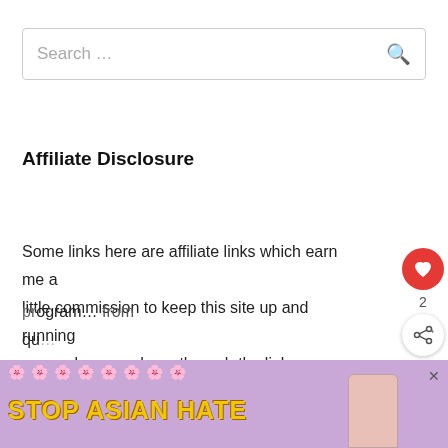[Figure (screenshot): Search box with placeholder text 'Search …' and a magnifying glass icon on the right]
Affiliate Disclosure
Some links here are affiliate links which earn me a little commission to keep this site up and running you make a purchase through the link. I am also a participant in the Amazon associate program…
[Figure (infographic): Ad banner: STOP ASIAN HATE text on purple background with flower decorations and an illustrated girl figure]
qu…